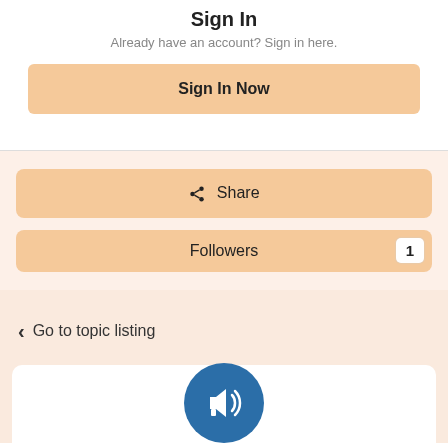Sign In
Already have an account? Sign in here.
Sign In Now
Share
Followers 1
Go to topic listing
[Figure (illustration): Blue circle with white megaphone/announcement icon]